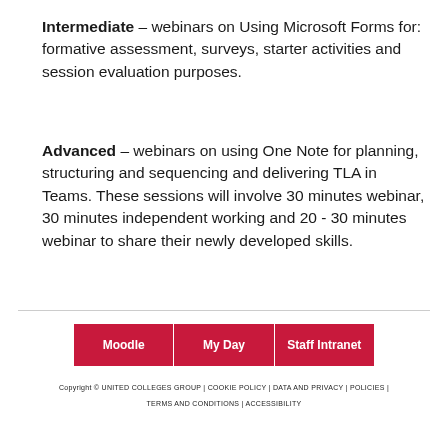Intermediate – webinars on Using Microsoft Forms for: formative assessment, surveys, starter activities and session evaluation purposes.
Advanced – webinars on using One Note for planning, structuring and sequencing and delivering TLA in Teams. These sessions will involve 30 minutes webinar, 30 minutes independent working and 20 - 30 minutes webinar to share their newly developed skills.
Moodle | My Day | Staff Intranet
Copyright © UNITED COLLEGES GROUP | COOKIE POLICY | DATA AND PRIVACY | POLICIES | TERMS AND CONDITIONS | ACCESSIBILITY